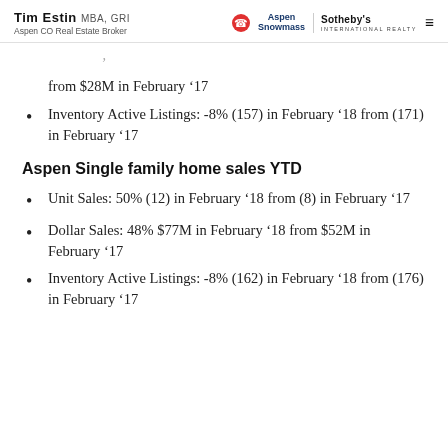Tim Estin MBA, GRI | Aspen CO Real Estate Broker | Aspen Snowmass Sotheby's International Realty
from $28M in February '17
Inventory Active Listings: -8% (157) in February '18 from (171) in February '17
Aspen Single family home sales YTD
Unit Sales: 50% (12) in February '18 from (8) in February '17
Dollar Sales: 48% $77M in February '18 from $52M in February '17
Inventory Active Listings: -8% (162) in February '18 from (176) in February '17